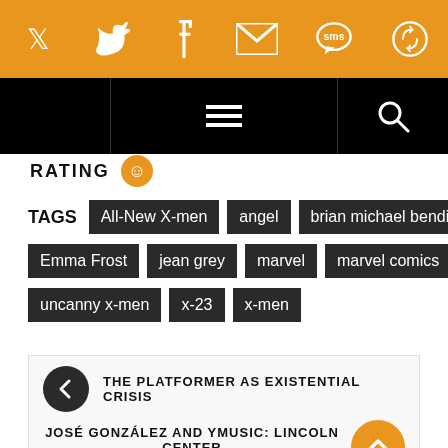[Figure (infographic): Orange social sharing bar with icons: Twitter, Facebook, Email, SMS, and a share/refresh icon]
[Figure (screenshot): Black navigation bar with left blank panel, centered hamburger menu icon, and right search icon]
RATING
TAGS  All-New X-men  angel  brian michael bendis  Emma Frost  jean grey  marvel  marvel comics  uncanny x-men  x-23  x-men
THE PLATFORMER AS EXISTENTIAL CRISIS
JOSÉ GONZÁLEZ AND YMUSIC: LINCOLN CENTER 'OUT OF DOORS' 2014 (PHOTOS)